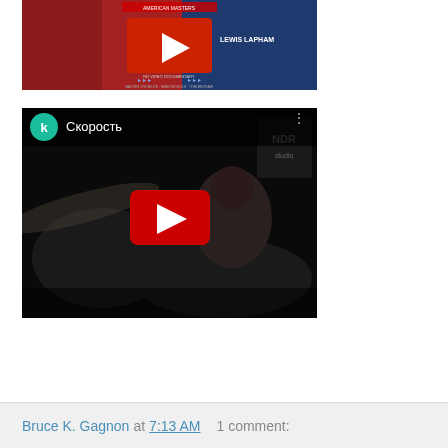[Figure (screenshot): YouTube video thumbnail showing a political/documentary style video with red and blue background and a YouTube play button overlay]
[Figure (screenshot): YouTube video thumbnail titled 'Скорость' showing a drummer playing with a green 'k' avatar icon, black and white photo style]
Bruce K. Gagnon at 7:13 AM    1 comment: